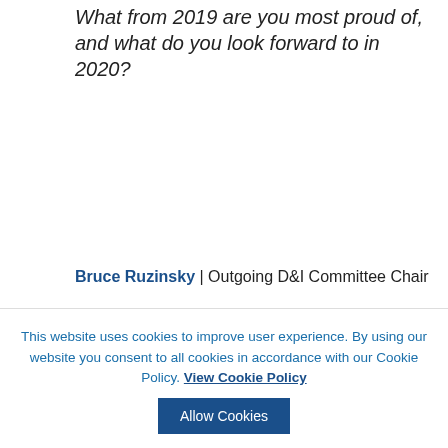What from 2019 are you most proud of, and what do you look forward to in 2020?
Bruce Ruzinsky | Outgoing D&I Committee Chair
“The most gratifying change is that at the
This website uses cookies to improve user experience. By using our website you consent to all cookies in accordance with our Cookie Policy. View Cookie Policy
Allow Cookies